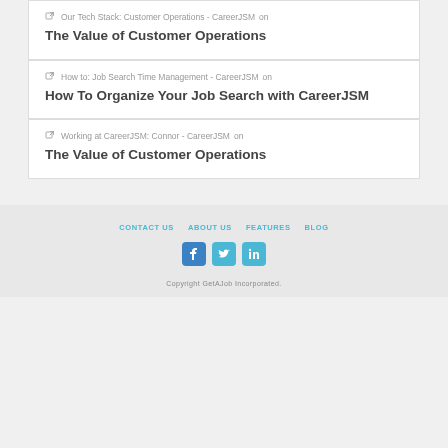Our Tech Stack: Customer Operations - CareerJSM on The Value of Customer Operations
How to: Job Search Time Management - CareerJSM on How To Organize Your Job Search with CareerJSM
Working at CareerJSM: Connor - CareerJSM on The Value of Customer Operations
CONTACT US | ABOUT US | FEATURES | BLOG | Copyright GetAJob Incorporated.